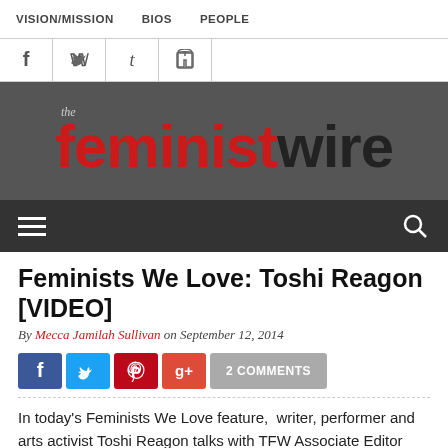VISION/MISSION   BIOS   PEOPLE
[Figure (logo): Social media icons: Facebook, Twitter, Tumblr, RSS]
[Figure (logo): The Feminist Wire logo — 'the' in italic gray, 'feminist' in large bold red, 'wire' in large bold dark gray, on a dark gray background]
[Figure (infographic): Navigation menu bar with hamburger menu icon on the left and search magnifying glass icon on the right, dark gray background]
Feminists We Love: Toshi Reagon [VIDEO]
By Mecca Jamilah Sullivan on September 12, 2014
[Figure (infographic): Social share buttons: Facebook (blue), Twitter (light blue), Pinterest (red), Google+ (red-orange), and a gray '2 COMMENTS' button]
In today's Feminists We Love feature,  writer, performer and arts activist Toshi Reagon talks with TFW Associate Editor Mecca Jamilah Sullivan about feminist lineages, the politics of creative